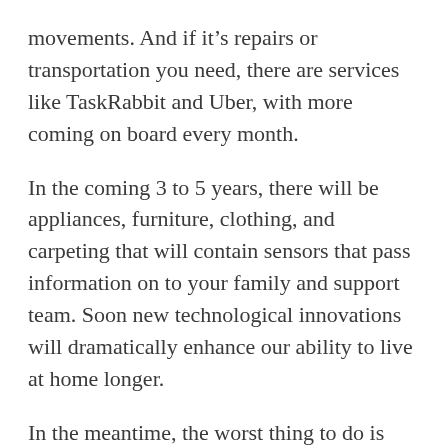movements. And if it’s repairs or transportation you need, there are services like TaskRabbit and Uber, with more coming on board every month.
In the coming 3 to 5 years, there will be appliances, furniture, clothing, and carpeting that will contain sensors that pass information on to your family and support team. Soon new technological innovations will dramatically enhance our ability to live at home longer.
In the meantime, the worst thing to do is ignore the ways in which our current living environment no longer works for us. Poor lighting, unsafe walkways, and difficulty getting around can make us a prisoner in our own home. Unable to freely (and safely) move